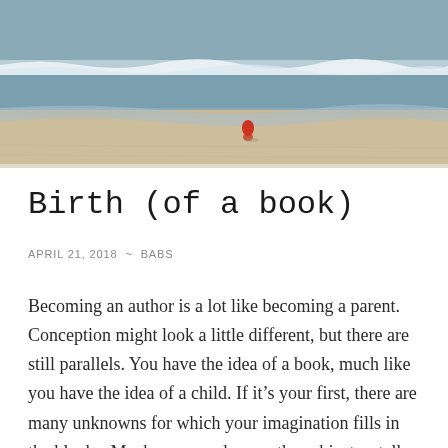[Figure (photo): A beach scene with ocean waves and a person in a red shirt sitting alone on the sand near the water's edge, viewed from a distance.]
Birth (of a book)
APRIL 21, 2018 ~ BABS
Becoming an author is a lot like becoming a parent. Conception might look a little different, but there are still parallels. You have the idea of a book, much like you have the idea of a child. If it's your first, there are many unknowns for which your imagination fills in the blanks. Maybe you read up on the subject or talk to others who have had the experience. You start to associate with people who are in similar circumstances. Some of them have already done this